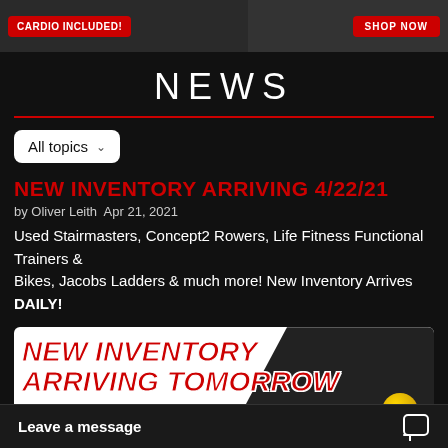[Figure (screenshot): Banner ad with red labels: CARDIO INCLUDED! on left and SHOP NOW on right, dark background with gym equipment]
NEWS
All topics
NEW INVENTORY ARRIVING 4/22/21
by Oliver Leith  Apr 21, 2021
Used Stairmasters, Concept2 Rowers, Life Fitness Functional Trainers &
Bikes, Jacobs Ladders & much more! New Inventory Arrives DAILY!
[Figure (illustration): Promotional image with bold red italic text: NEW INVENTORY ARRIVING TOMORROW with a gold TOP badge on dark/white background]
Leave a message